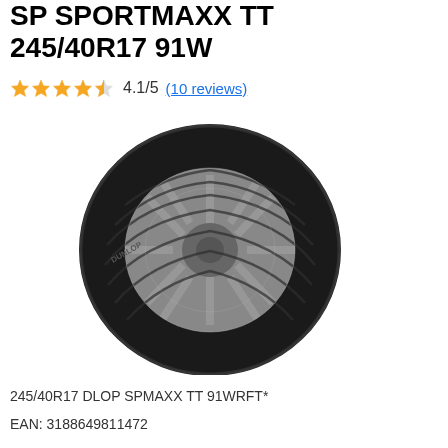SP SPORTMAXX TT 245/40R17 91W
★★★★✦ 4.1/5 (10 reviews)
[Figure (photo): Dunlop SP Sport Maxx TT tire with alloy wheel, side profile view showing tread pattern and branding on sidewall]
245/40R17 DLOP SPMAXX TT 91WRFT*
EAN: 3188649811472